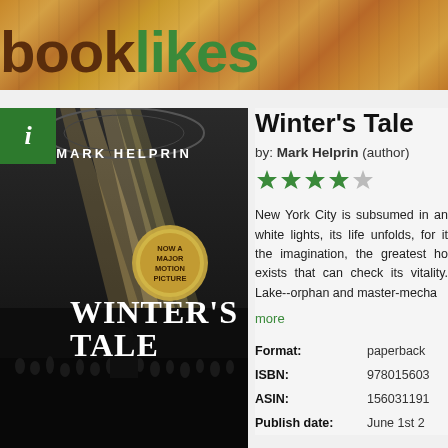booklikes
[Figure (photo): Book cover of Winter's Tale by Mark Helprin showing Grand Central Station interior with dramatic light beams and people, with a gold medallion reading NOW A MAJOR MOTION PICTURE]
Winter's Tale
by: Mark Helprin (author)
[Figure (other): 4 out of 5 stars rating shown as green filled stars with one grey star]
New York City is subsumed in an white lights, its life unfolds, for it the imagination, the greatest ho exists that can check its vitality. Lake--orphan and master-mecha
more
| Field | Value |
| --- | --- |
| Format: | paperback |
| ISBN: | 978015603… |
| ASIN: | 156031191… |
| Publish date: | June 1st 2… |